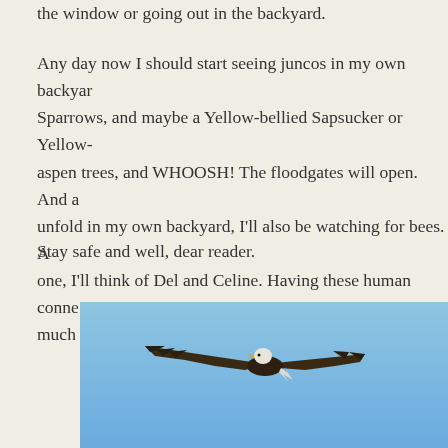the window or going out in the backyard.
Any day now I should start seeing juncos in my own backyard, Sparrows, and maybe a Yellow-bellied Sapsucker or Yellow- aspen trees, and WHOOSH! The floodgates will open. And a unfold in my own backyard, I'll also be watching for bees. A one, I'll think of Del and Celine. Having these human conne much at a time like this.
Stay safe and well, dear reader.
[Figure (photo): A bald eagle soaring in flight against a clear blue sky, viewed from slightly below. The eagle has dark brown body and wings with a white head and tail.]